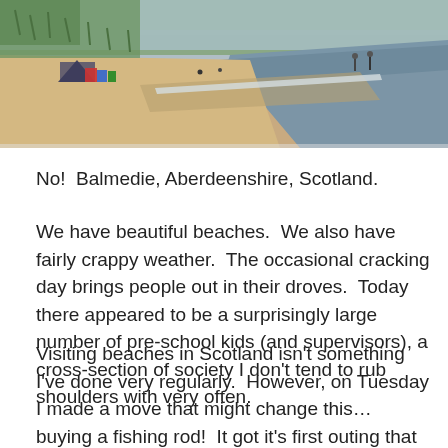[Figure (photo): A sandy beach scene at Balmedie, Aberdeenshire, Scotland. The beach stretches along the coastline with calm waves, a few people and beach tents in the distance, and grassy dunes visible in the background under an overcast sky.]
No!  Balmedie, Aberdeenshire, Scotland.
We have beautiful beaches.  We also have fairly crappy weather.  The occasional cracking day brings people out in their droves.  Today there appeared to be a surprisingly large number of pre-school kids (and supervisors), a cross-section of society I don’t tend to rub shoulders with very often.
Visiting beaches in Scotland isn't something I’ve done very regularly.  However, on Tuesday I made a move that might change this… buying a fishing rod!  It got it's first outing that evening, feathering for mackerel in Inverbervie… without success!